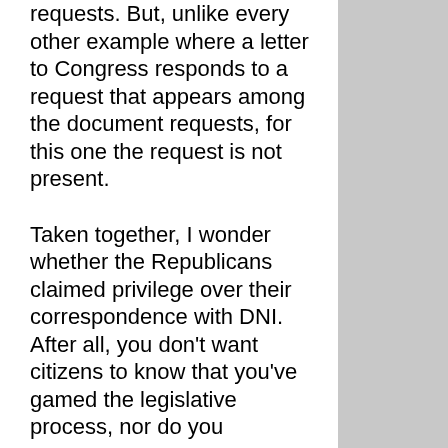requests. But, unlike every other example where a letter to Congress responds to a request that appears among the document requests, for this one the request is not present.
Taken together, I wonder whether the Republicans claimed privilege over their correspondence with DNI. After all, you don't want citizens to know that you've gamed the legislative process, nor do you